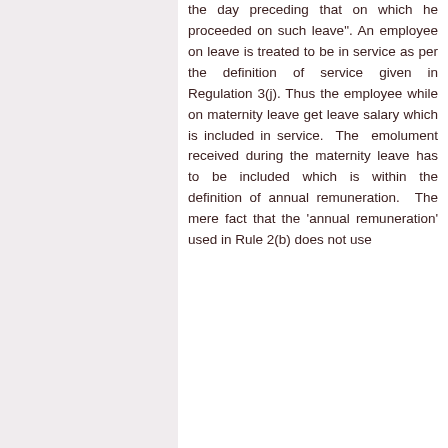the day preceding that on which he proceeded on such leave". An employee on leave is treated to be in service as per the definition of service given in Regulation 3(j). Thus the employee while on maternity leave get leave salary which is included in service. The emolument received during the maternity leave has to be included which is within the definition of annual remuneration. The mere fact that the 'annual remuneration' used in Rule 2(b) does not use